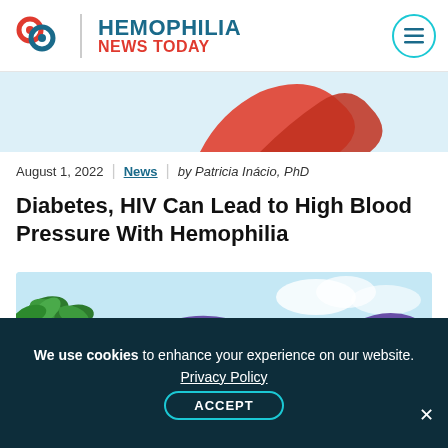HEMOPHILIA NEWS TODAY
[Figure (illustration): Partial illustration of a red heart shape on light blue background, cropped at top]
August 1, 2022 | News | by Patricia Inácio, PhD
Diabetes, HIV Can Lead to High Blood Pressure With Hemophilia
[Figure (illustration): Illustration showing palm trees on a beach with a dark purple wave shape flowing through, with text 'HEMOPHILIA' partially visible at bottom]
We use cookies to enhance your experience on our website. Privacy Policy ACCEPT